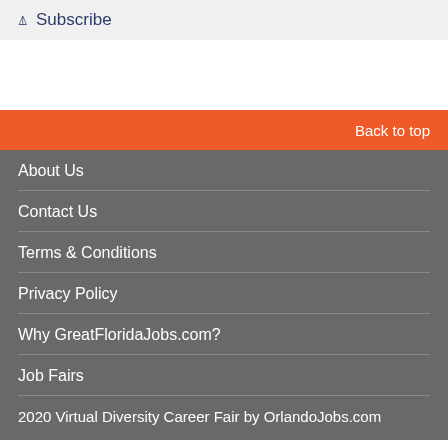Subscribe
Back to top
About Us
Contact Us
Terms & Conditions
Privacy Policy
Why GreatFloridaJobs.com?
Job Fairs
2020 Virtual Diversity Career Fair by OrlandoJobs.com